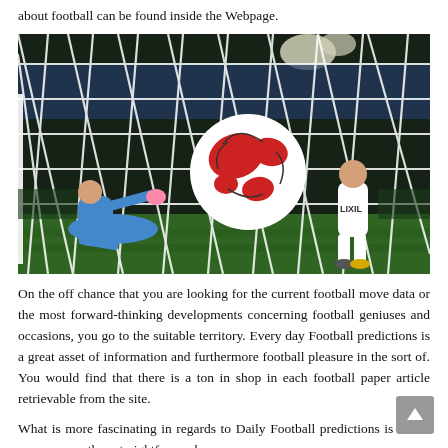about football can be found inside the Webpage.
[Figure (photo): Close-up shot from behind the goal net of a football (soccer) match. A goalkeeper in blue dives to the right while a player in white (LIXIL jersey) stands nearby. A red and white football is mid-air near the goal line. Stadium lights and crowd in background.]
On the off chance that you are looking for the current football move data or the most forward-thinking developments concerning football geniuses and occasions, you go to the suitable territory. Every day Football predictions is a great asset of information and furthermore football pleasure in the sort of. You would find that there is a ton in shop in each football paper article retrievable from the site.
What is more fascinating in regards to Daily Football predictions is that it covers more than straightforward